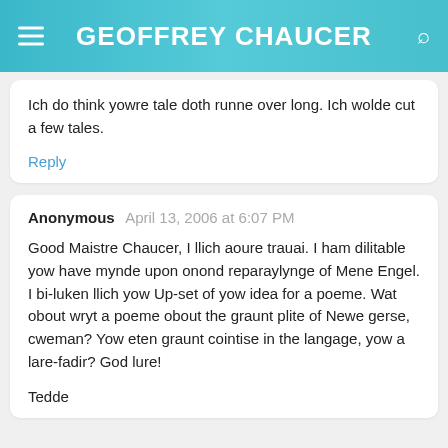GEOFFREY CHAUCER
Ich do think yowre tale doth runne over long. Ich wolde cut a few tales.
Reply
Anonymous  April 13, 2006 at 6:07 PM
Good Maistre Chaucer, I llich aoure trauai. I ham dilitable yow have mynde upon onond reparaylynge of Mene Engel. I bi-luken llich yow Up-set of yow idea for a poeme. Wat obout wryt a poeme obout the graunt plite of Newe gerse, cweman? Yow eten graunt cointise in the langage, yow a lare-fadir? God lure!
Tedde